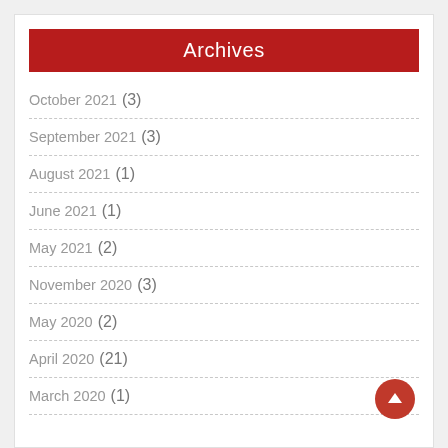Archives
October 2021 (3)
September 2021 (3)
August 2021 (1)
June 2021 (1)
May 2021 (2)
November 2020 (3)
May 2020 (2)
April 2020 (21)
March 2020 (1)